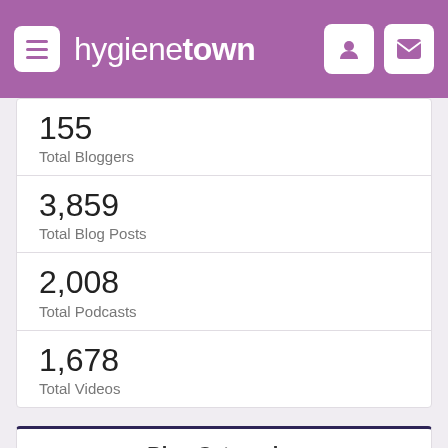hygienetown
155
Total Bloggers
3,859
Total Blog Posts
2,008
Total Podcasts
1,678
Total Videos
Blog Categories
Ethics, Jurisprudence and Malpractice (5)
Health, Wellness and Ergonomics (19)
Hygiene (2)